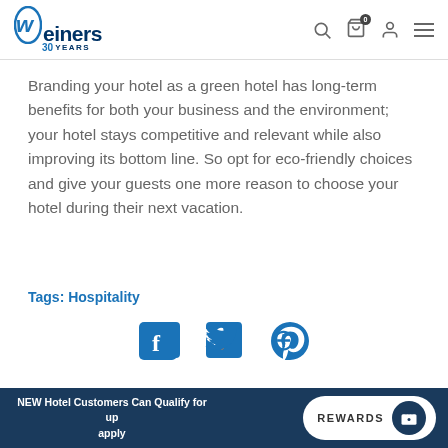Weiners 30 Years
Branding your hotel as a green hotel has long-term benefits for both your business and the environment; your hotel stays competitive and relevant while also improving its bottom line. So opt for eco-friendly choices and give your guests one more reason to choose your hotel during their next vacation.
Tags: Hospitality
[Figure (other): Social sharing icons: Facebook, Twitter, Pinterest]
NEW Hotel Customers Can Qualify for up to apply | REWARDS